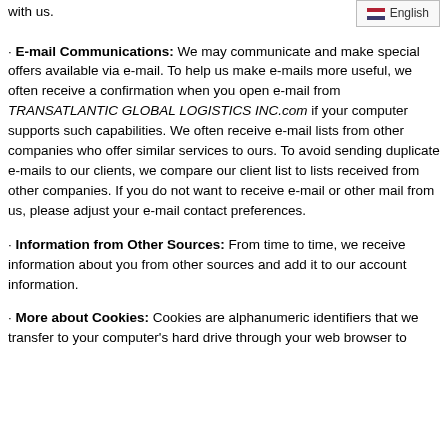with us.
E-mail Communications: We may communicate and make special offers available via e-mail. To help us make e-mails more useful, we often receive a confirmation when you open e-mail from TRANSATLANTIC GLOBAL LOGISTICS INC.com if your computer supports such capabilities. We often receive e-mail lists from other companies who offer similar services to ours. To avoid sending duplicate e-mails to our clients, we compare our client list to lists received from other companies. If you do not want to receive e-mail or other mail from us, please adjust your e-mail contact preferences.
Information from Other Sources: From time to time, we receive information about you from other sources and add it to our account information.
More about Cookies: Cookies are alphanumeric identifiers that we transfer to your computer's hard drive through your web browser to